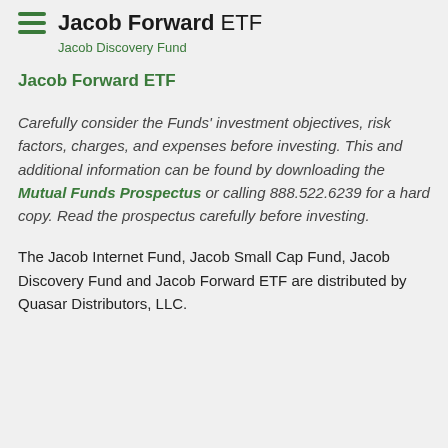Jacob Forward ETF
Jacob Discovery Fund
Jacob Forward ETF
Carefully consider the Funds' investment objectives, risk factors, charges, and expenses before investing. This and additional information can be found by downloading the Mutual Funds Prospectus or calling 888.522.6239 for a hard copy. Read the prospectus carefully before investing.
The Jacob Internet Fund, Jacob Small Cap Fund, Jacob Discovery Fund and Jacob Forward ETF are distributed by Quasar Distributors, LLC.